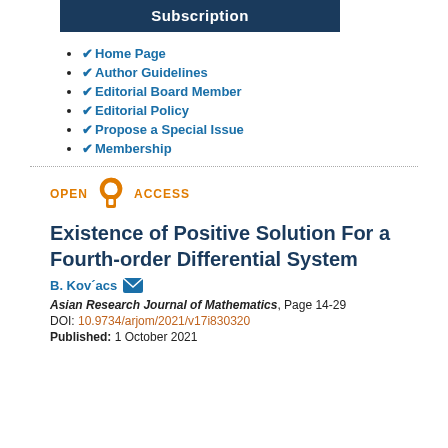Subscription
✔ Home Page
✔ Author Guidelines
✔ Editorial Board Member
✔ Editorial Policy
✔ Propose a Special Issue
✔ Membership
[Figure (logo): Open Access logo with orange open lock icon, text OPEN ACCESS in orange]
Existence of Positive Solution For a Fourth-order Differential System
B. Kov´acs
Asian Research Journal of Mathematics, Page 14-29
DOI: 10.9734/arjom/2021/v17i830320
Published: 1 October 2021